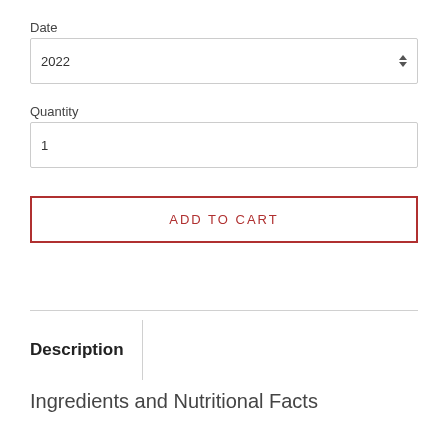Date
2022
Quantity
1
ADD TO CART
Description
Ingredients and Nutritional Facts